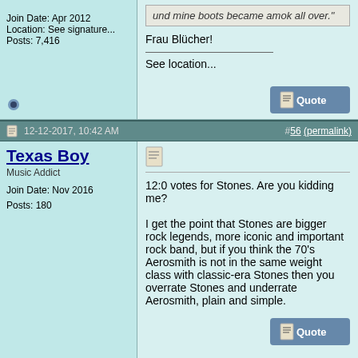Join Date: Apr 2012
Location: See signature...
Posts: 7,416
und mine boots became amok all over."

Frau Blücher!

See location...
12-12-2017, 10:42 AM  #56 (permalink)
Texas Boy
Music Addict
Join Date: Nov 2016
Posts: 180
12:0 votes for Stones. Are you kidding me?

I get the point that Stones are bigger rock legends, more iconic and important rock band, but if you think the 70's Aerosmith is not in the same weight class with classic-era Stones then you overrate Stones and underrate Aerosmith, plain and simple.
12-12-2017, 10:43 AM  #57 (permalink)